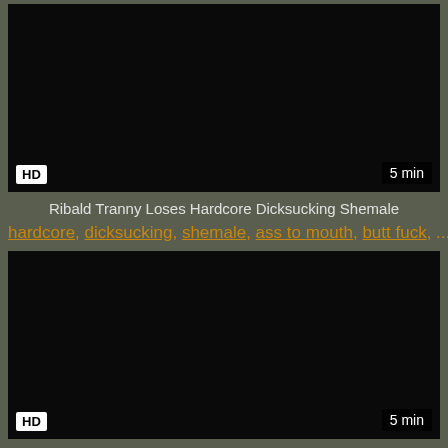[Figure (screenshot): Black video thumbnail with HD badge bottom-left and 5 min badge bottom-right]
Ribald Tranny Loses Hardcore Dicksucking Shemale
hardcore, dicksucking, shemale, ass to mouth, butt fuck, ...
[Figure (screenshot): Black video thumbnail with HD badge bottom-left and 5 min badge bottom-right]
Lustful Ladyboy Anal Tranny Shemale